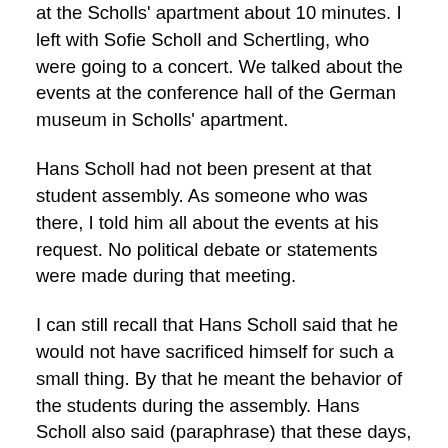at the Scholls' apartment about 10 minutes. I left with Sofie Scholl and Schertling, who were going to a concert. We talked about the events at the conference hall of the German museum in Scholls' apartment.
Hans Scholl had not been present at that student assembly. As someone who was there, I told him all about the events at his request. No political debate or statements were made during that meeting.
I can still recall that Hans Scholl said that he would not have sacrificed himself for such a small thing. By that he meant the behavior of the students during the assembly. Hans Scholl also said (paraphrase) that these days, one must prepare himself for something big.
At that time, I did not understand what he meant. However today I know that he meant his big thing. We did not talk